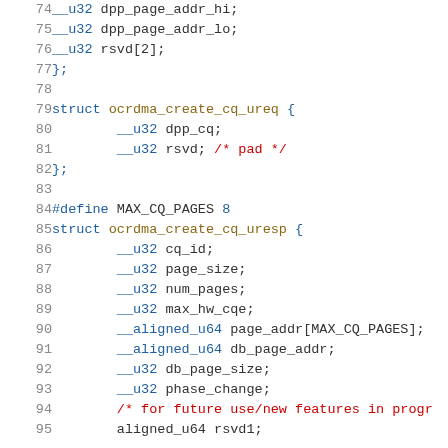Code listing showing C struct definitions for ocrdma_create_cq_ureq and ocrdma_create_cq_uresp, lines 74-95
74    __u32 dpp_page_addr_hi;
75    __u32 dpp_page_addr_lo;
76    __u32 rsvd[2];
77 };
78
79 struct ocrdma_create_cq_ureq {
80    __u32 dpp_cq;
81    __u32 rsvd; /* pad */
82 };
83
84 #define MAX_CQ_PAGES 8
85 struct ocrdma_create_cq_uresp {
86    __u32 cq_id;
87    __u32 page_size;
88    __u32 num_pages;
89    __u32 max_hw_cqe;
90    __aligned_u64 page_addr[MAX_CQ_PAGES];
91    __aligned_u64 db_page_addr;
92    __u32 db_page_size;
93    __u32 phase_change;
94    /* for future use/new features in progr
95    aligned_u64 rsvd1;